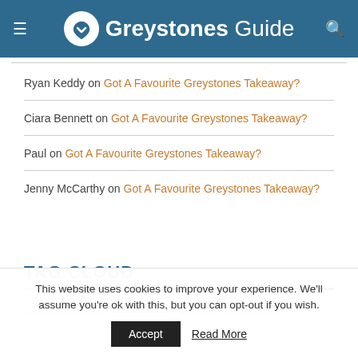Greystones Guide
Ryan Keddy on Got A Favourite Greystones Takeaway?
Ciara Bennett on Got A Favourite Greystones Takeaway?
Paul on Got A Favourite Greystones Takeaway?
Jenny McCarthy on Got A Favourite Greystones Takeaway?
TAG CLOUD
This website uses cookies to improve your experience. We'll assume you're ok with this, but you can opt-out if you wish.